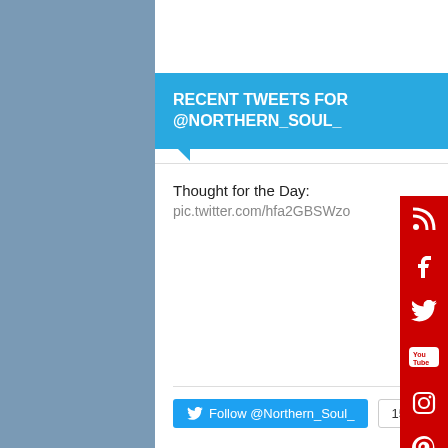Vote
View Results
RECENT TWEETS FOR @NORTHERN_SOUL_
Thought for the Day:
pic.twitter.com/hfa2GBSWzo
Follow @Northern_Soul_  15.8K followers
[Figure (infographic): Social media sidebar with icons for RSS, Facebook, Twitter, YouTube, Instagram, Pinterest, LinkedIn — all on red background]